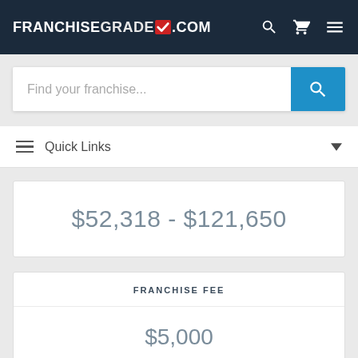FRANCHISEGRADE.COM
Find your franchise...
Quick Links
$52,318 - $121,650
FRANCHISE FEE
$5,000
FRANCHISE AGREEMENT
INITIAL TERM
RENEWAL TERM